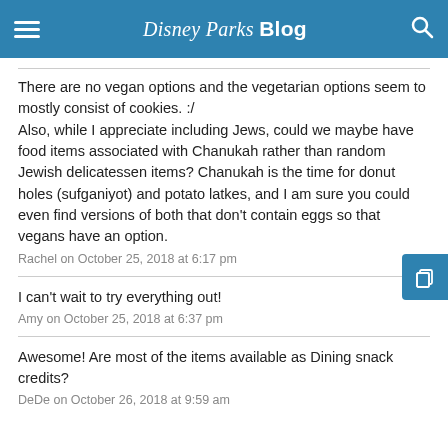Disney Parks Blog
There are no vegan options and the vegetarian options seem to mostly consist of cookies. :/ Also, while I appreciate including Jews, could we maybe have food items associated with Chanukah rather than random Jewish delicatessen items? Chanukah is the time for donut holes (sufganiyot) and potato latkes, and I am sure you could even find versions of both that don't contain eggs so that vegans have an option.
Rachel on October 25, 2018 at 6:17 pm
I can't wait to try everything out!
Amy on October 25, 2018 at 6:37 pm
Awesome! Are most of the items available as Dining snack credits?
DeDe on October 26, 2018 at 9:59 am